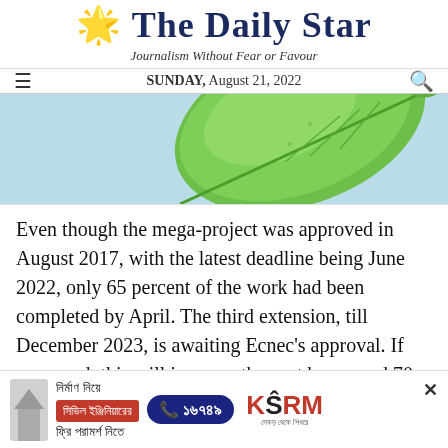The Daily Star
Journalism Without Fear or Favour
SUNDAY, August 21, 2022
[Figure (photo): Close-up photograph of a green leaf on a light blue background, cropped to show upper portion of the leaf]
Even though the mega-project was approved in August 2017, with the latest deadline being June 2022, only 65 percent of the work had been completed by April. The third extension, till December 2023, is awaiting Ecnec's approval. If approved, this will increase the cost by around 70
[Figure (infographic): Advertisement banner for KSRM construction company. Bengali text: 'নির্মাণ নিয়ে' (About construction), red button with 'সিভিল ইঞ্জিনিয়ারের' (Civil Engineer's), Bengali text 'ফ্রি পরামর্শ নিতে' (Get free advice), phone number 16749 in blue pill shape, KSRM logo in red with Bengali tagline]